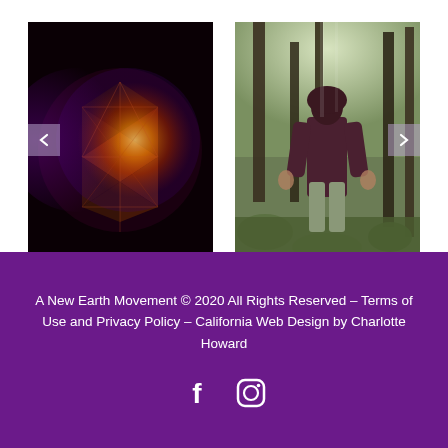[Figure (photo): Glowing geometric sphere with orange and purple triangular facets on dark background, with a left navigation arrow button on the left side]
[Figure (photo): Person standing in a forest among trees and rocks, viewed from behind wearing a dark hoodie and grey pants, with a right navigation arrow button on the right side]
A New Earth Movement © 2020 All Rights Reserved -- Terms of Use and Privacy Policy -- California Web Design by Charlotte Howard
[Figure (other): Facebook and Instagram social media icons in white]